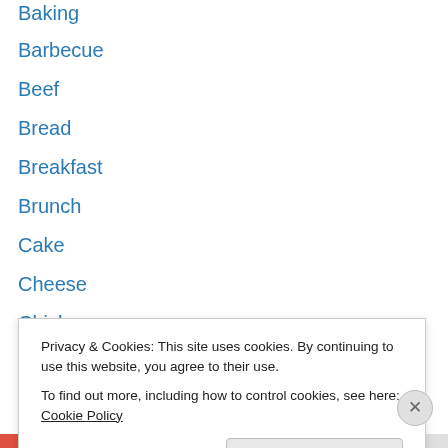Baking
Barbecue
Beef
Bread
Breakfast
Brunch
Cake
Cheese
Chicken
Chinese
Comfort Food
Dairy free
Dessert
Dips
Privacy & Cookies: This site uses cookies. By continuing to use this website, you agree to their use.
To find out more, including how to control cookies, see here: Cookie Policy